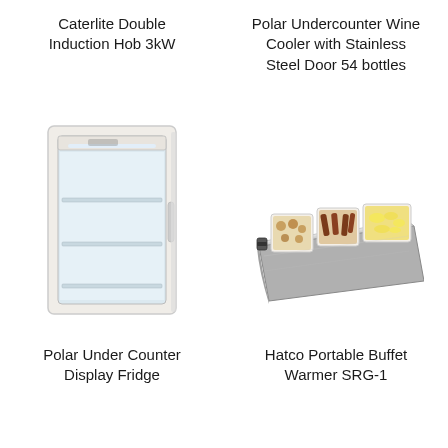Caterlite Double Induction Hob 3kW
Polar Undercounter Wine Cooler with Stainless Steel Door 54 bottles
[Figure (photo): Polar Under Counter Display Fridge — a white upright refrigerator with a glass door showing internal shelves]
[Figure (photo): Hatco Portable Buffet Warmer SRG-1 — a stainless steel buffet warmer with three white food pans containing various foods]
Polar Under Counter Display Fridge
Hatco Portable Buffet Warmer SRG-1